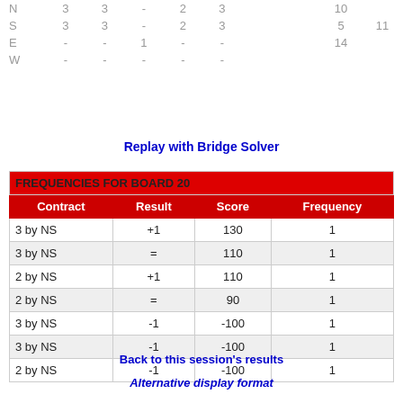|  |  |  |  |  |  |  |  |
| --- | --- | --- | --- | --- | --- | --- | --- |
| N | 3 | 3 | - | 2 | 3 |  | 10 |  |
| S | 3 | 3 | - | 2 | 3 |  | 5 | 11 |
| E | - | - | 1 | - | - |  | 14 |  |
| W | - | - | - | - | - |  |  |  |
Replay with Bridge Solver
| Contract | Result | Score | Frequency |
| --- | --- | --- | --- |
| 3 by NS | +1 | 130 | 1 |
| 3 by NS | = | 110 | 1 |
| 2 by NS | +1 | 110 | 1 |
| 2 by NS | = | 90 | 1 |
| 3 by NS | -1 | -100 | 1 |
| 3 by NS | -1 | -100 | 1 |
| 2 by NS | -1 | -100 | 1 |
Back to this session's results
Alternative display format